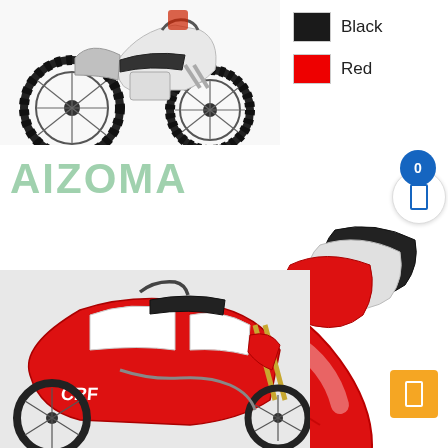[Figure (photo): Dirt/motocross motorcycle viewed from the side, showing wheels, handlebars, and body. White background. Partial top view.]
[Figure (photo): Color swatches: black square labeled 'Black', red square labeled 'Red']
Black
Red
[Figure (illustration): AIZOMA brand watermark text in light green/mint color]
[Figure (photo): Three small motorcycle front fenders shown in red, white/gray, and black colors stacked/overlapping]
[Figure (photo): Large red motorcycle front fender (mudguard) product photo on white background with AIZOMA watermark]
[Figure (photo): Honda CRF dirt bike motorcycle in red/white colors, bottom-left of page]
[Figure (illustration): Blue circular badge with number 0, overlapping a white circular badge with rectangle icon]
[Figure (illustration): Orange/yellow square button with white rectangle icon in bottom right]